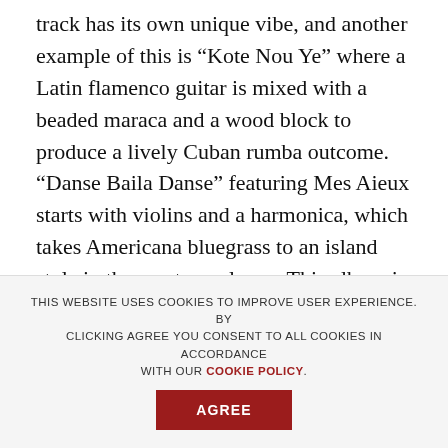track has its own unique vibe, and another example of this is “Kote Nou Ye” where a Latin flamenco guitar is mixed with a beaded maraca and a wood block to produce a lively Cuban rumba outcome. “Danse Baila Danse” featuring Mes Aieux starts with violins and a harmonica, which takes Americana bluegrass to an island style in the most novel way. This album is a truly incredible ride.

Wesli is about to hit the road on tour as part of globalFEST’s 2016 Creole Carnival, extending from March to May and performing three pieces per show as direct support for Emeline Michel. The Carnival will hit 38 North
THIS WEBSITE USES COOKIES TO IMPROVE USER EXPERIENCE. BY CLICKING AGREE YOU CONSENT TO ALL COOKIES IN ACCORDANCE WITH OUR COOKIE POLICY.
AGREE